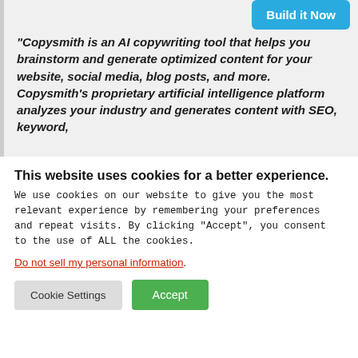[Figure (screenshot): Blue 'Build it Now' button in the top-right corner]
“Copysmith is an AI copywriting tool that helps you brainstorm and generate optimized content for your website, social media, blog posts, and more. Copysmith’s proprietary artificial intelligence platform analyzes your industry and generates content with SEO, keyword,
This website uses cookies for a better experience.
We use cookies on our website to give you the most relevant experience by remembering your preferences and repeat visits. By clicking “Accept”, you consent to the use of ALL the cookies.
Do not sell my personal information.
Cookie Settings   Accept